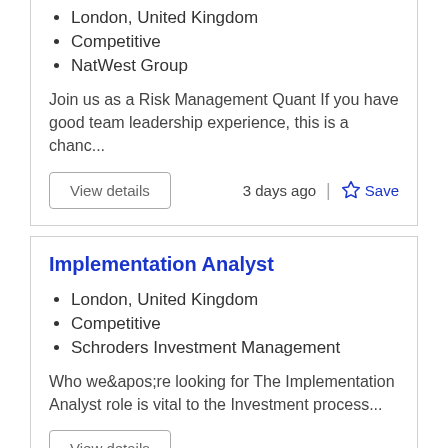London, United Kingdom
Competitive
NatWest Group
Join us as a Risk Management Quant If you have good team leadership experience, this is a chanc...
View details
3 days ago
Save
Implementation Analyst
London, United Kingdom
Competitive
Schroders Investment Management
Who we&apos;re looking for The Implementation Analyst role is vital to the Investment process...
View details